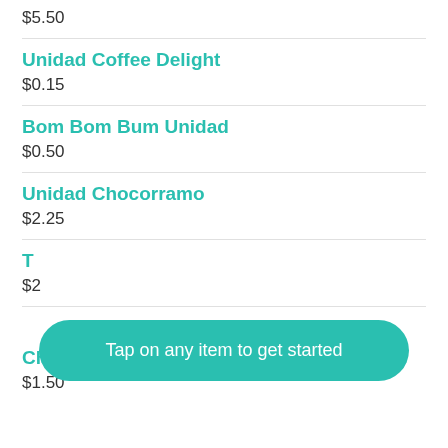$5.50
Unidad Coffee Delight
$0.15
Bom Bom Bum Unidad
$0.50
Unidad Chocorramo
$2.25
To...
$2...
[Figure (screenshot): Teal rounded pill button overlay with white text: 'Tap on any item to get started']
Chocolatina Jet
$1.50